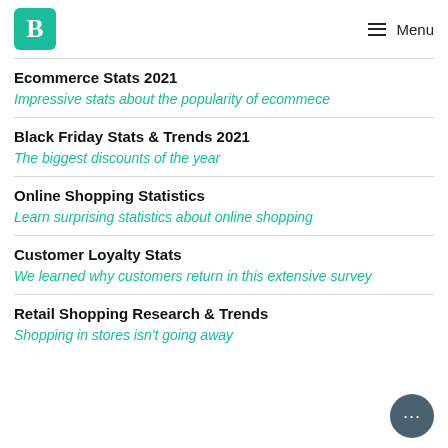B  Menu
Ecommerce Stats 2021
Impressive stats about the popularity of ecommece
Black Friday Stats & Trends 2021
The biggest discounts of the year
Online Shopping Statistics
Learn surprising statistics about online shopping
Customer Loyalty Stats
We learned why customers return in this extensive survey
Retail Shopping Research & Trends
Shopping in stores isn't going away